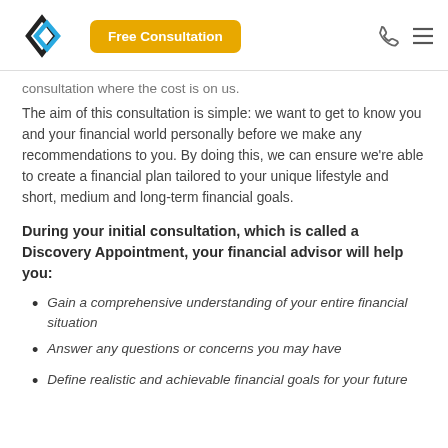Free Consultation
consultation where the cost is on us.
The aim of this consultation is simple: we want to get to know you and your financial world personally before we make any recommendations to you. By doing this, we can ensure we're able to create a financial plan tailored to your unique lifestyle and short, medium and long-term financial goals.
During your initial consultation, which is called a Discovery Appointment, your financial advisor will help you:
Gain a comprehensive understanding of your entire financial situation
Answer any questions or concerns you may have
Define realistic and achievable financial goals for your future